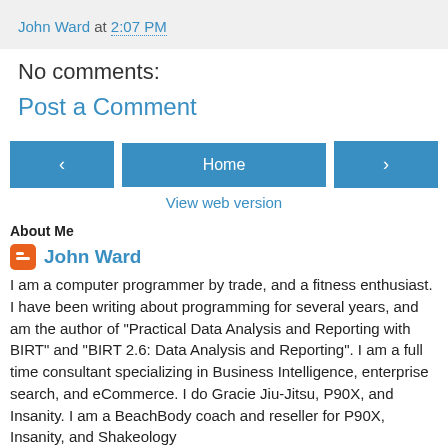John Ward at 2:07 PM
No comments:
Post a Comment
Home
View web version
About Me
John Ward
I am a computer programmer by trade, and a fitness enthusiast. I have been writing about programming for several years, and am the author of "Practical Data Analysis and Reporting with BIRT" and "BIRT 2.6: Data Analysis and Reporting". I am a full time consultant specializing in Business Intelligence, enterprise search, and eCommerce. I do Gracie Jiu-Jitsu, P90X, and Insanity. I am a BeachBody coach and reseller for P90X, Insanity, and Shakeology